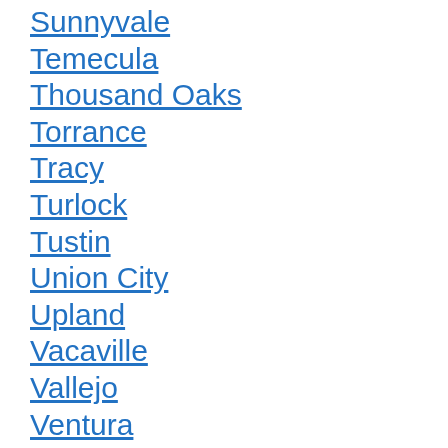Sunnyvale
Temecula
Thousand Oaks
Torrance
Tracy
Turlock
Tustin
Union City
Upland
Vacaville
Vallejo
Ventura
Victorville
Visalia
Vista